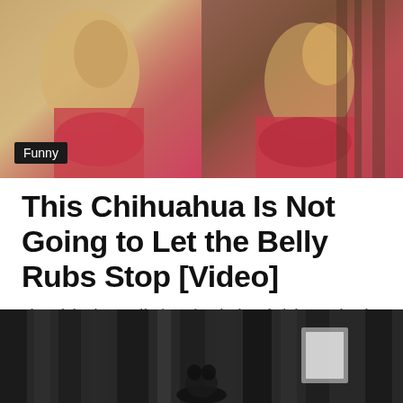[Figure (photo): Two side-by-side photos of a Chihuahua dog being held or getting belly rubs on a red surface. Left photo shows the dog from below, right photo shows a person's hand near the dog's face. A 'Funny' category badge overlays the bottom-left of the image.]
This Chihuahua Is Not Going to Let the Belly Rubs Stop [Video]
This Chihuahua is all of us after the long holiday weekend. Let...
ChihuaCorner · June 17, 2022 · No comments · 61 views · 1 minute read
[Figure (photo): Black and white photo of a Chihuahua dog, partially visible at the bottom of the page.]